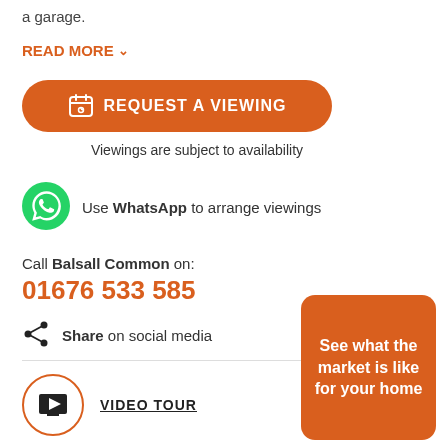a garage.
READ MORE ∨
[Figure (other): Orange rounded button with calendar icon and text REQUEST A VIEWING]
Viewings are subject to availability
[Figure (logo): WhatsApp green circle icon]
Use WhatsApp to arrange viewings
Call Balsall Common on:
01676 533 585
[Figure (other): Share icon (three connected dots)]
Share on social media
[Figure (other): Video play button in orange circle]
VIDEO TOUR
See what the market is like for your home